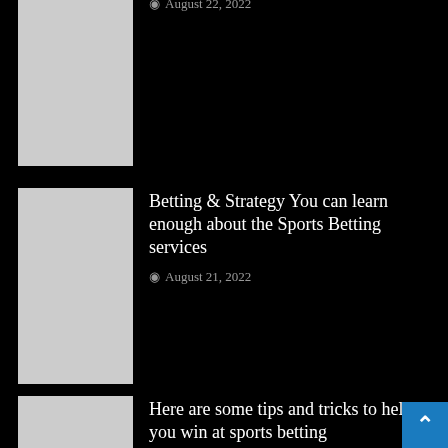Invest in Bitcoin and Bitcoin Derivatives
August 22, 2022
[Figure (photo): Thumbnail image placeholder (white/grey square) for Bitcoin article]
Betting & Strategy You can learn enough about the Sports Betting services
August 21, 2022
[Figure (photo): Thumbnail image placeholder (white/grey square) for Betting & Strategy article]
Here are some tips and tricks to help you win at sports betting
August 21, 2022
[Figure (photo): Thumbnail image placeholder (white/grey square) for tips and tricks article]
Sports Betting & How to Choose the Right Betting Tips for Online Gambling
[Figure (photo): Thumbnail image placeholder (white/grey square) for Sports Betting & How to Choose article]